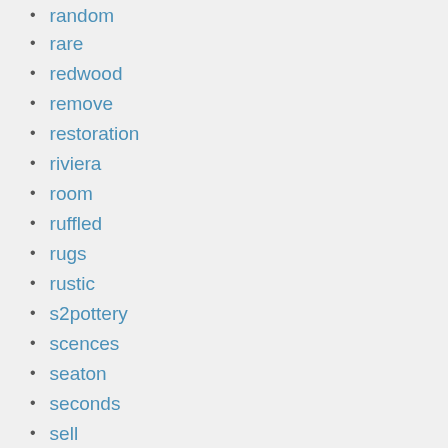random
rare
redwood
remove
restoration
riviera
room
ruffled
rugs
rustic
s2pottery
scences
seaton
seconds
sell
set2
set4